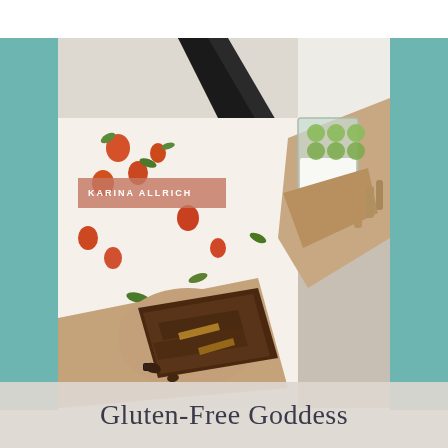[Figure (photo): Book cover photo: a woman wearing a floral dress holding a glass of milk with green polka dots and a piece of chocolate brownie. The image is centered with teal/sage green borders on left and right sides.]
KARINA ALLRICH
Gluten-Free Goddess